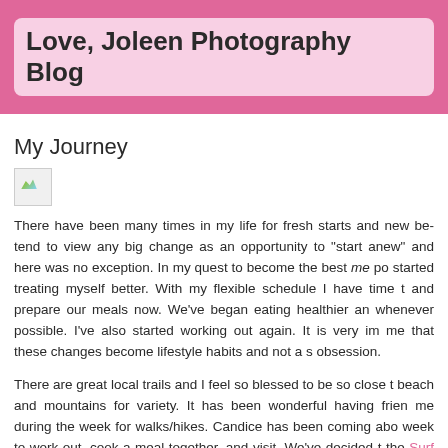Love, Joleen Photography Blog
My Journey
[Figure (photo): Broken/missing image placeholder]
There have been many times in my life for fresh starts and new be... tend to view any big change as an opportunity to "start anew" and here was no exception. In my quest to become the best me po... started treating myself better. With my flexible schedule I have time t... and prepare our meals now. We've began eating healthier an... whenever possible. I've also started working out again. It is very im... me that these changes become lifestyle habits and not a s... obsession.
There are great local trails and I feel so blessed to be so close t... beach and mountains for variety. It has been wonderful having frien... me during the week for walks/hikes. Candice has been coming abo... week to work out, cook a meal together, and visit. We've decided t... the Surf City USA Half Marathon and I figure the more people I tell...